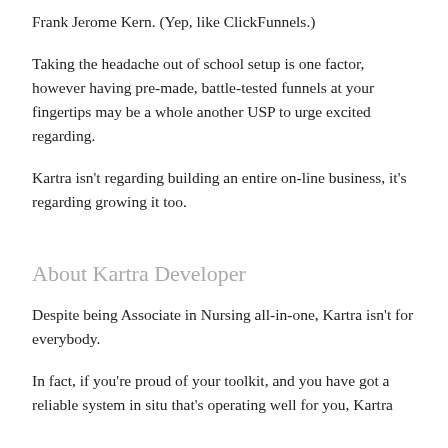Frank Jerome Kern. (Yep, like ClickFunnels.)
Taking the headache out of school setup is one factor, however having pre-made, battle-tested funnels at your fingertips may be a whole another USP to urge excited regarding.
Kartra isn't regarding building an entire on-line business, it's regarding growing it too.
About Kartra Developer
Despite being Associate in Nursing all-in-one, Kartra isn't for everybody.
In fact, if you're proud of your toolkit, and you have got a reliable system in situ that's operating well for you, Kartra